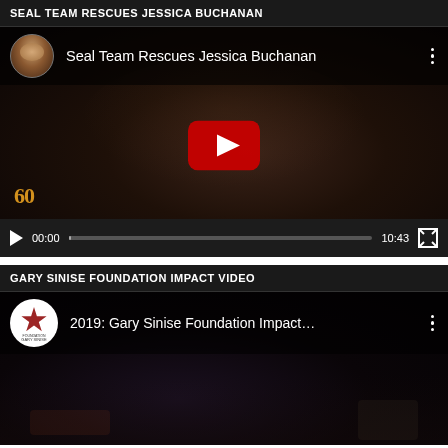SEAL TEAM RESCUES JESSICA BUCHANAN
[Figure (screenshot): YouTube video embed showing 'Seal Team Rescues Jessica Buchanan' with a 60 Minutes watermark, video duration 10:43, at 00:00 timestamp, with play button overlaid on a dark portrait image.]
GARY SINISE FOUNDATION IMPACT VIDEO
[Figure (screenshot): YouTube video embed showing '2019: Gary Sinise Foundation Impact...' with the Gary Sinise Foundation logo, partially visible crowd scene in background.]